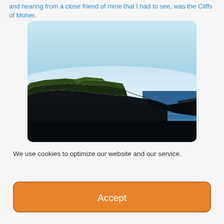and hearing from a close friend of mine that I had to see, was the Cliffs of Moher.
[Figure (photo): Photograph of the Cliffs of Moher showing dramatic dark cliff faces against a pale blue sky, with blue ocean water visible to the right side of the image. Green grass is visible on the cliff tops.]
We use cookies to optimize our website and our service.
Accept